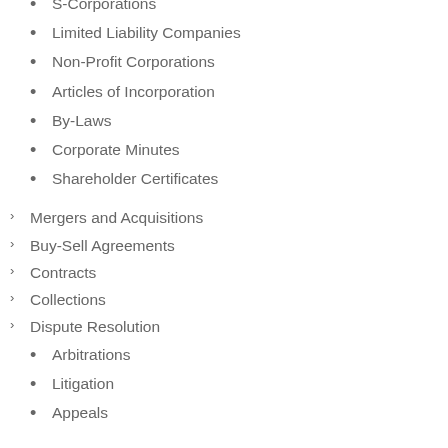S-Corporations
Limited Liability Companies
Non-Profit Corporations
Articles of Incorporation
By-Laws
Corporate Minutes
Shareholder Certificates
Mergers and Acquisitions
Buy-Sell Agreements
Contracts
Collections
Dispute Resolution
Arbitrations
Litigation
Appeals
Trials and Appeals